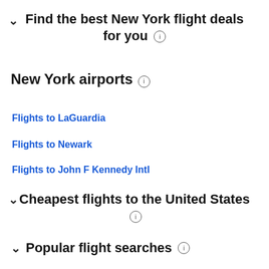Find the best New York flight deals for you ℹ
New York airports ℹ
Flights to LaGuardia
Flights to Newark
Flights to John F Kennedy Intl
Cheapest flights to the United States ℹ
Popular flight searches ℹ